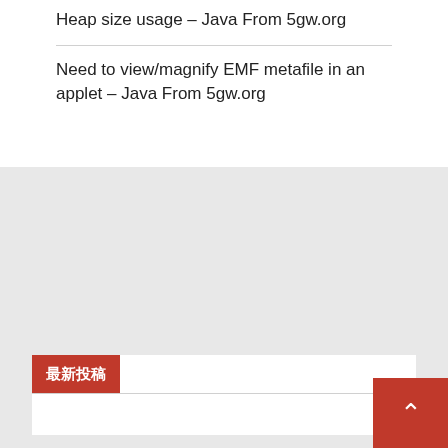Heap size usage – Java From 5gw.org
Need to view/magnify EMF metafile in an applet – Java From 5gw.org
最新投稿
月別
2022年4月